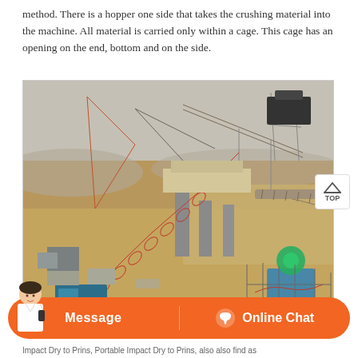method. There is a hopper one side that takes the crushing material into the machine. All material is carried only within a cage. This cage has an opening on the end, bottom and on the side.
[Figure (photo): Aerial photograph of a large industrial stone crushing and conveyor belt facility at a quarry or mining site. Multiple red spiral/helical conveyor belts are visible transporting material. Heavy machinery, cranes, and processing equipment are spread across a dusty open terrain.]
Impact Dry to Prins, Portable Impact Dry to Prins, also also find as